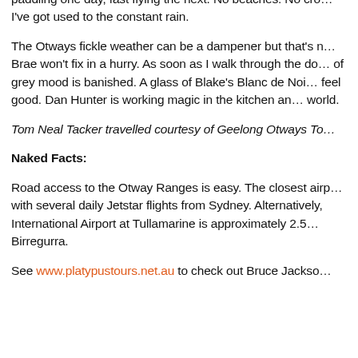platypus. The contrast between these two activities is remarkable: slow paddling one day, fast flying the next. No beaches. No cro... I've got used to the constant rain.
The Otways fickle weather can be a dampener but that's nothing Brae won't fix in a hurry. As soon as I walk through the do... of grey mood is banished. A glass of Blake's Blanc de Noi... feel good. Dan Hunter is working magic in the kitchen an... world.
Tom Neal Tacker travelled courtesy of Geelong Otways To...
Naked Facts:
Road access to the Otway Ranges is easy. The closest airp... with several daily Jetstar flights from Sydney. Alternatively, International Airport at Tullamarine is approximately 2.5... Birregurra.
See www.platypustours.net.au to check out Bruce Jackso...